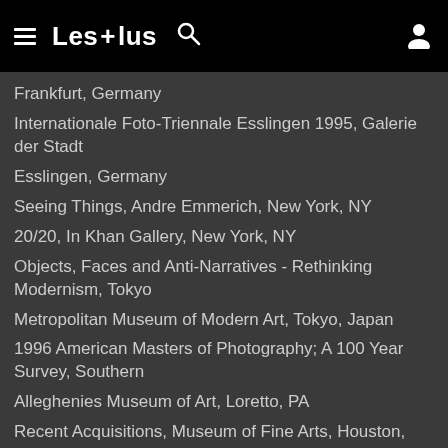≡ Les + lus 🔍 👤
Frankfurt, Germany
Internationale Foto-Triennale Esslingen 1995, Galerie der Stadt
Esslingen, Germany
Seeing Things, Andre Emmerich, New York, NY
20/20, In Khan Gallery, New York, NY
Objects, Faces and Anti-Narratives - Rethinking Modernism, Tokyo
Metropolitan Museum of Modern Art, Tokyo, Japan
1996 American Masters of Photography; A 100 Year Survey, Southern
Alleghenies Museum of Art, Loretto, PA
Recent Acquisitions, Museum of Fine Arts, Houston,